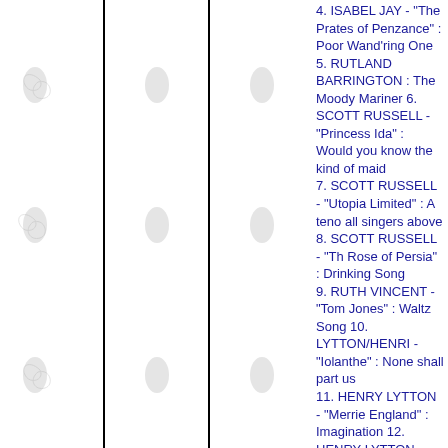[Figure (illustration): Three columns with decorative swirl/flourish illustrations on a white background, separated by vertical black lines]
4. ISABEL JAY - "The Prates of Penzance" : Poor Wand'ring One 5. RUTLAND BARRINGTON : The Moody Mariner 6. SCOTT RUSSELL - "Princess Ida" : Would you know the kind of maid 7. SCOTT RUSSELL - "Utopia Limited" : A tenor all singers above 8. SCOTT RUSSELL - "The Rose of Persia" : Drinking Song 9. RUTH VINCENT - "Tom Jones" : Waltz Song 10. LYTTON/HENRI - "Iolanthe" : None shall part us 11. HENRY LYTTON - "Merrie England" : Imagination 12. HENRY LYTTON - "Merrie England" - The Yeomen of England 13. HENRY LYTTON - "The Sorcerer" : The